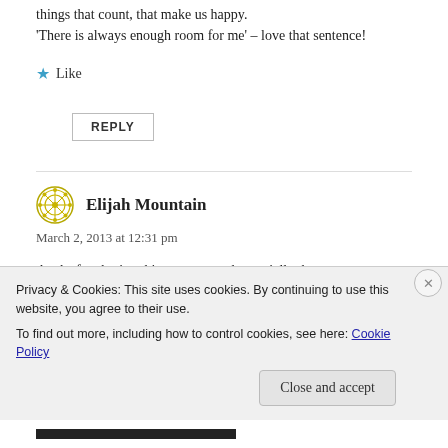things that count, that make us happy. ‘There is always enough room for me’ – love that sentence!
★ Like
REPLY
Elijah Mountain
March 2, 2013 at 12:31 pm
thanks for sharing this memory and especially the
Privacy & Cookies: This site uses cookies. By continuing to use this website, you agree to their use.
To find out more, including how to control cookies, see here: Cookie Policy
Close and accept